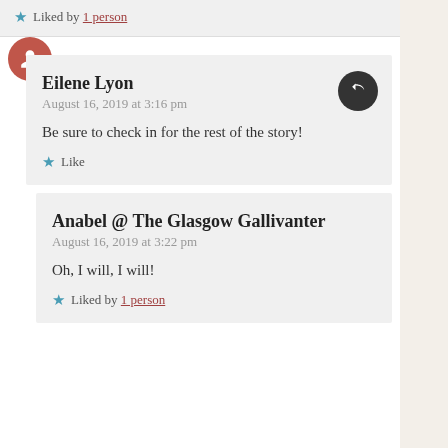★ Liked by 1 person
Eilene Lyon
August 16, 2019 at 3:16 pm
Be sure to check in for the rest of the story!
★ Like
Anabel @ The Glasgow Gallivanter
August 16, 2019 at 3:22 pm
Oh, I will, I will!
★ Liked by 1 person